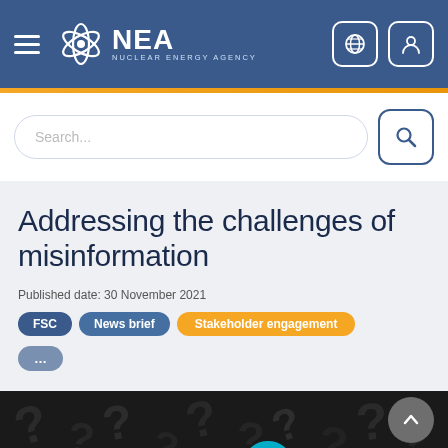[Figure (screenshot): NEA Nuclear Energy Agency website header with hamburger menu, NEA logo, globe icon, and user icon on blue background]
[Figure (screenshot): Search bar with Search... placeholder text and search button icon]
Addressing the challenges of misinformation
Published date: 30 November 2021
FSC
News brief
Stakeholder engagement
...
[Figure (photo): Dark background with question mark symbols and a cyan/blue glowing element, bottom portion of article image]